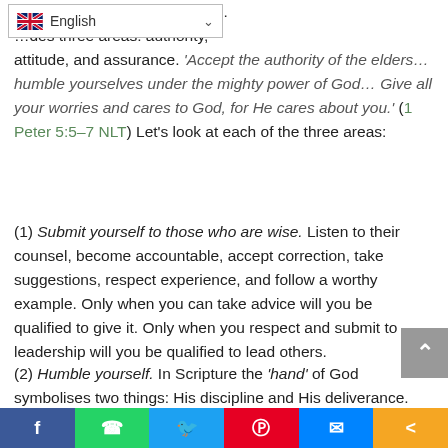ves us the real formula for … des three areas: authority, attitude, and assurance. 'Accept the authority of the elders… humble yourselves under the mighty power of God… Give all your worries and cares to God, for He cares about you.' (1 Peter 5:5–7 NLT) Let's look at each of the three areas:
(1) Submit yourself to those who are wise. Listen to their counsel, become accountable, accept correction, take suggestions, respect experience, and follow a worthy example. Only when you can take advice will you be qualified to give it. Only when you respect and submit to leadership will you be qualified to lead others.
(2) Humble yourself. In Scripture the 'hand' of God symbolises two things: His discipline and His deliverance. When you humble yourself before Him,